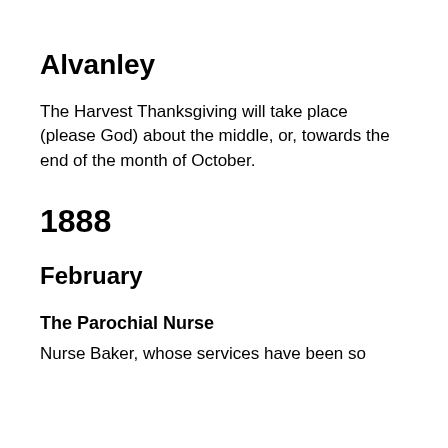Alvanley
The Harvest Thanksgiving will take place (please God) about the middle, or, towards the end of the month of October.
1888
February
The Parochial Nurse
Nurse Baker, whose services have been so